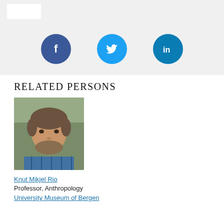[Figure (other): Top bar with white logo box on gray background]
[Figure (infographic): Social media icons row: Facebook (dark blue circle with f), Twitter (light blue circle with bird), LinkedIn (blue circle with in)]
RELATED PERSONS
[Figure (photo): Portrait photo of a middle-aged man with short brown hair and beard wearing a blue plaid shirt, outdoors with green blurred background]
Knut Mikjel Rio
Professor, Anthropology
University Museum of Bergen